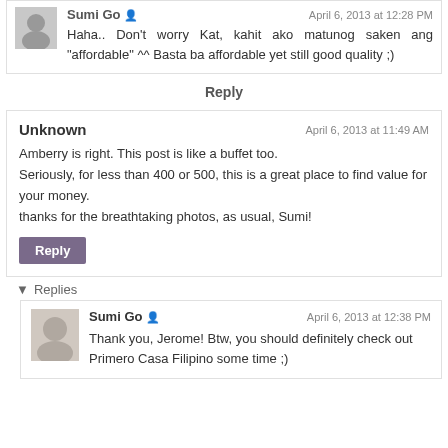Sumi Go — April 6, 2013 at 12:28 PM — Haha.. Don't worry Kat, kahit ako matunog saken ang "affordable" ^^ Basta ba affordable yet still good quality ;)
Reply
Unknown — April 6, 2013 at 11:49 AM — Amberry is right. This post is like a buffet too. Seriously, for less than 400 or 500, this is a great place to find value for your money. thanks for the breathtaking photos, as usual, Sumi!
Reply
▾ Replies
Sumi Go — April 6, 2013 at 12:38 PM — Thank you, Jerome! Btw, you should definitely check out Primero Casa Filipino some time ;)